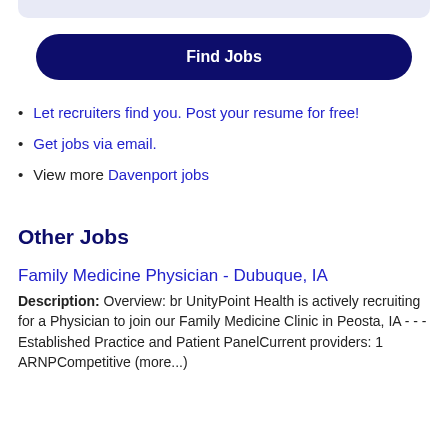Find Jobs
Let recruiters find you. Post your resume for free!
Get jobs via email.
View more Davenport jobs
Other Jobs
Family Medicine Physician - Dubuque, IA
Description: Overview: br UnityPoint Health is actively recruiting for a Physician to join our Family Medicine Clinic in Peosta, IA - - - Established Practice and Patient PanelCurrent providers: 1 ARNPCompetitive (more...)